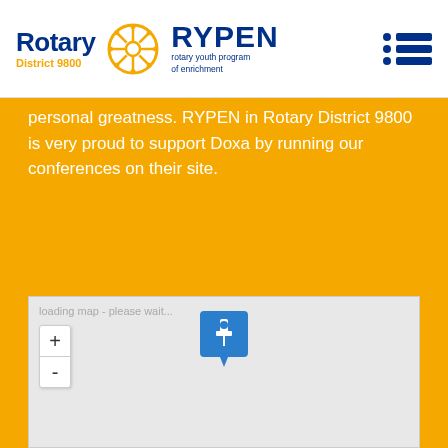Rotary District 9800 RYPEN - rotary youth program of enrichment
personal greatness. RYPEN in Rotary District 9800 is very proud to support Doxa by running our conferences on their site.
[Figure (map): Loading map with zoom controls (+/-) and a blue map pin marker in the center-lower portion of the map area. Text reads 'loading map - please wait...']